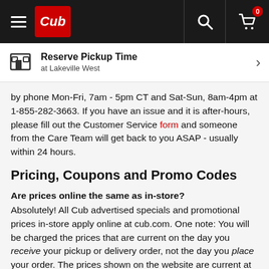Cub - navigation bar with hamburger menu, Cub logo, search icon, cart icon (0 items)
Reserve Pickup Time at Lakeville West
by phone Mon-Fri, 7am - 5pm CT and Sat-Sun, 8am-4pm at 1-855-282-3663. If you have an issue and it is after-hours, please fill out the Customer Service form and someone from the Care Team will get back to you ASAP - usually within 24 hours.
Pricing, Coupons and Promo Codes
Are prices online the same as in-store? Absolutely! All Cub advertised specials and promotional prices in-store apply online at cub.com. One note: You will be charged the prices that are current on the day you receive your pickup or delivery order, not the day you place your order. The prices shown on the website are current at the time you place your order, so some prices may change if you are ordering today for a future order.